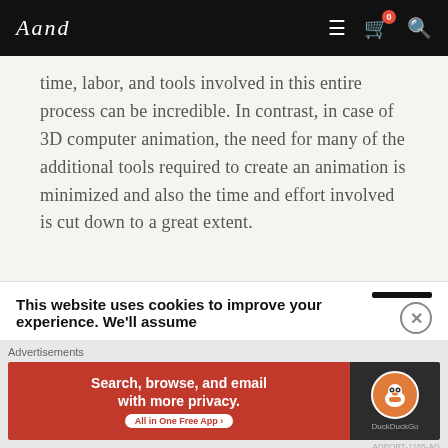And — navigation header with logo, menu, cart (0), search
time, labor, and tools involved in this entire process can be incredible. In contrast, in case of 3D computer animation, the need for many of the additional tools required to create an animation is minimized and also the time and effort involved is cut down to a great extent.
In a nut shell it can be said that basically 2D and 3D animations mean the dimension in which the
This website uses cookies to improve your experience. We'll assume
[Figure (screenshot): DuckDuckGo advertisement banner: 'Search, browse, and email with more privacy. All in One Free App' on red background with DuckDuckGo logo on dark background. Below: Advertisements label.]